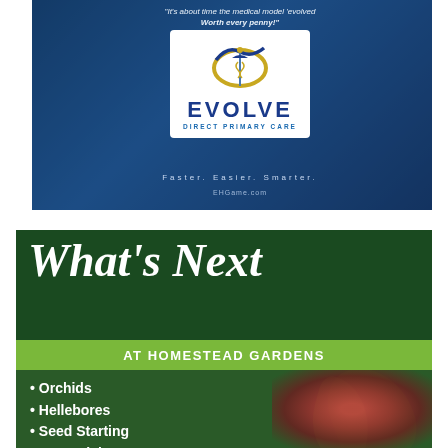[Figure (advertisement): Evolve Direct Primary Care advertisement with blue medical office background, logo with caduceus emblem, text 'It's about time the medical model evolved' and 'Worth every penny!', tagline 'Faster. Easier. Smarter.' and URL 'EHGame.com']
[Figure (advertisement): Homestead Gardens advertisement with dark green background, cursive 'What's Next' title, green banner reading 'at HOMESTEAD GARDENS', and bullet list: Orchids, Hellebores, Seed Starting, Perennials, Spring Chicks, with flower photo overlay]